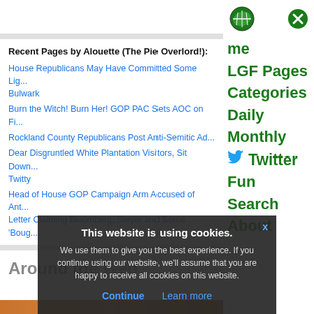[Figure (logo): LGF football logo icon (green football)]
[Figure (other): Green circle X close button]
Home
LGF Pages
Categories
Daily
Monthly
Twitter
Fun
Search
About
Recent Pages by Alouette (The Pie Overlord!):
House Republicans May Have Committed Some Lig... Bulwark
Burn the Witch! Burn Her! GOP PAC Sets AOC on Fi...
Rockland County Republicans Post Anti-Semitic Ad...
Dear Disgruntled White Plantation Visitors, Sit Down... Twitty
Head of House GOP Campaign Arm Accused of Ant... Letter Claiming Bloomberg, Steyer and Soros 'Boug...
Around the Web
This website is using cookies. We use them to give you the best experience. If you continue using our website, we'll assume that you are happy to receive all cookies on this website.
Continue  Learn more